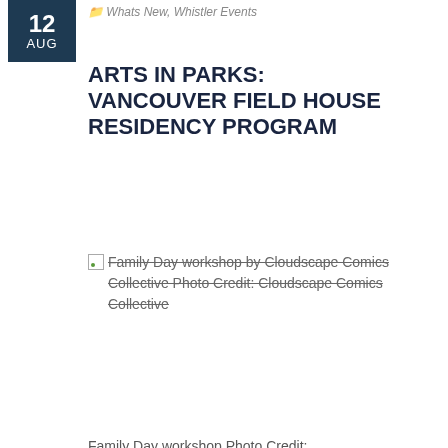12 AUG
Whats New, Whistler Events
ARTS IN PARKS: VANCOUVER FIELD HOUSE RESIDENCY PROGRAM
[Figure (photo): Broken image placeholder for: Family Day workshop by Cloudscape Comics Collective Photo Credit: Cloudscape Comics Collective]
Family Day workshop Photo Credit: Cloudscape Comics Collective
Did you know that you can learn about the basics of comics drawing or traditional Aboriginal weaving after, say, a game of Frisbee or a picnic with friends in a Vancouver city park?
For the last two years, Vancouver artists and